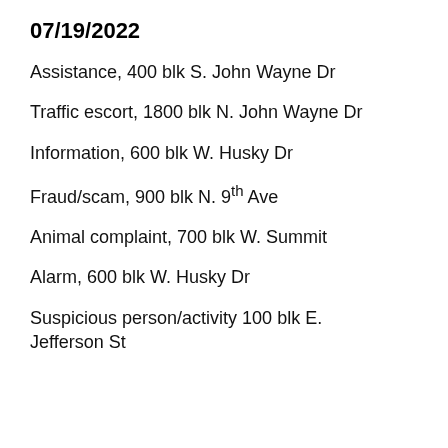07/19/2022
Assistance, 400 blk S. John Wayne Dr
Traffic escort, 1800 blk N. John Wayne Dr
Information, 600 blk W. Husky Dr
Fraud/scam, 900 blk N. 9th Ave
Animal complaint, 700 blk W. Summit
Alarm, 600 blk W. Husky Dr
Suspicious person/activity 100 blk E. Jefferson St